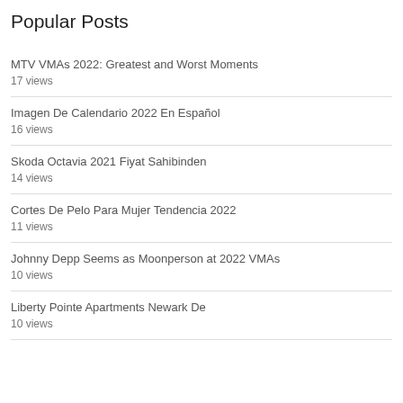Popular Posts
MTV VMAs 2022: Greatest and Worst Moments
17 views
Imagen De Calendario 2022 En Español
16 views
Skoda Octavia 2021 Fiyat Sahibinden
14 views
Cortes De Pelo Para Mujer Tendencia 2022
11 views
Johnny Depp Seems as Moonperson at 2022 VMAs
10 views
Liberty Pointe Apartments Newark De
10 views